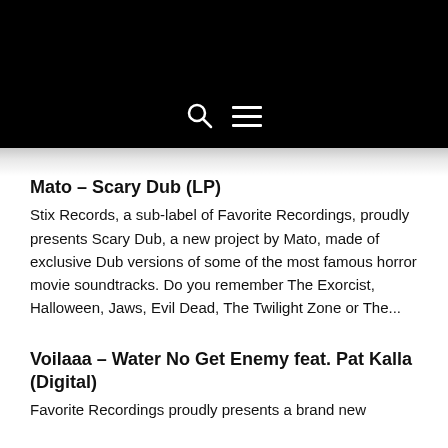[Figure (screenshot): Black navigation header bar with search icon (magnifying glass) and hamburger menu icon in white on black background]
Mato – Scary Dub (LP)
Stix Records, a sub-label of Favorite Recordings, proudly presents Scary Dub, a new project by Mato, made of exclusive Dub versions of some of the most famous horror movie soundtracks. Do you remember The Exorcist, Halloween, Jaws, Evil Dead, The Twilight Zone or The...
Voilaaa – Water No Get Enemy feat. Pat Kalla (Digital)
Favorite Recordings proudly presents a brand new